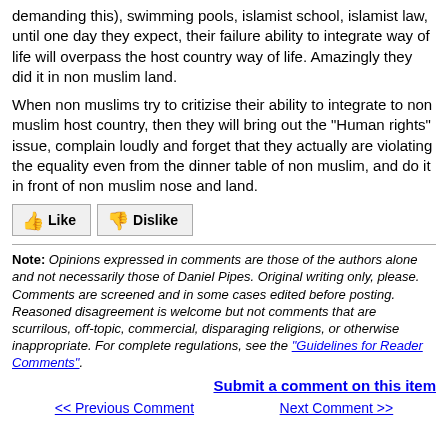demanding this), swimming pools, islamist school, islamist law, until one day they expect, their failure ability to integrate way of life will overpass the host country way of life. Amazingly they did it in non muslim land.
When non muslims try to critizise their ability to integrate to non muslim host country, then they will bring out the "Human rights" issue, complain loudly and forget that they actually are violating the equality even from the dinner table of non muslim, and do it in front of non muslim nose and land.
[Figure (other): Like and Dislike buttons with thumbs up (green) and thumbs down (red) icons]
Note: Opinions expressed in comments are those of the authors alone and not necessarily those of Daniel Pipes. Original writing only, please. Comments are screened and in some cases edited before posting. Reasoned disagreement is welcome but not comments that are scurrilous, off-topic, commercial, disparaging religions, or otherwise inappropriate. For complete regulations, see the "Guidelines for Reader Comments".
Submit a comment on this item
<< Previous Comment    Next Comment >>